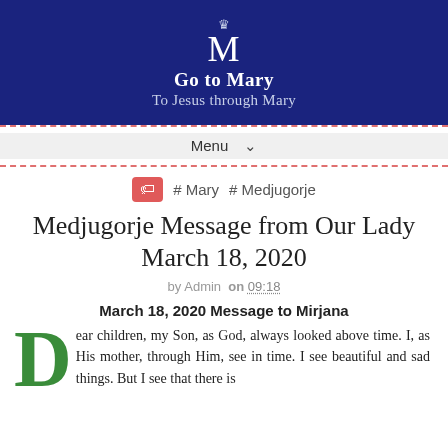Go to Mary
To Jesus through Mary
Menu
# Mary  # Medjugorje
Medjugorje Message from Our Lady March 18, 2020
by Admin on 09:18
March 18, 2020 Message to Mirjana
Dear children, my Son, as God, always looked above time. I, as His mother, through Him, see in time. I see beautiful and sad things. But I see that there is